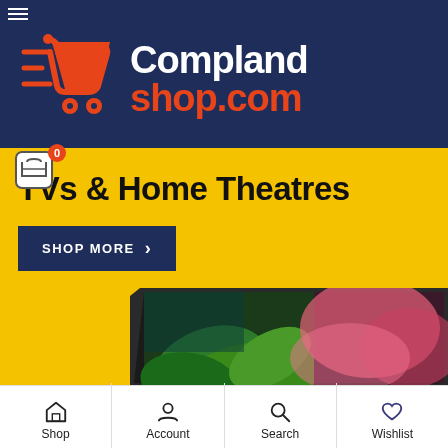[Figure (logo): Compland shop.com logo with shopping cart icon on dark navy background header]
TVs & Home Theatres
SHOP MORE ›
[Figure (photo): Curved TV screen showing colorful wallpaper with green leaves and pink clouds on yellow background]
Shop  Account  Search  Wishlist